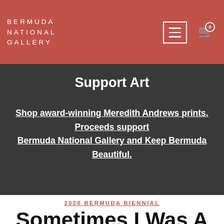BERMUDA NATIONAL GALLERY
Support Art
Shop award-winning Meredith Andrews prints. Proceeds support Bermuda National Gallery and Keep Bermuda Beautiful.
2020 BERMUDA BIENNIAL
Sometimes I Was A